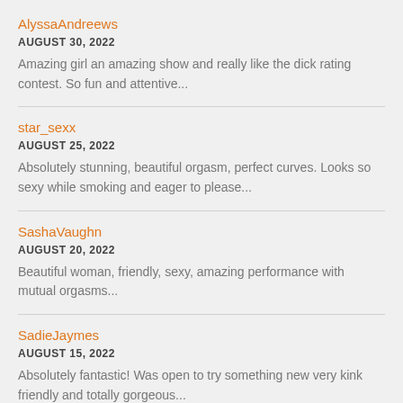AlyssaAndreews
AUGUST 30, 2022
Amazing girl an amazing show and really like the dick rating contest. So fun and attentive...
star_sexx
AUGUST 25, 2022
Absolutely stunning, beautiful orgasm, perfect curves. Looks so sexy while smoking and eager to please...
SashaVaughn
AUGUST 20, 2022
Beautiful woman, friendly, sexy, amazing performance with mutual orgasms...
SadieJaymes
AUGUST 15, 2022
Absolutely fantastic! Was open to try something new very kink friendly and totally gorgeous...